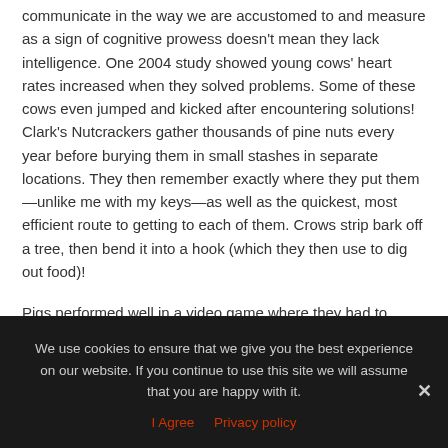communicate in the way we are accustomed to and measure as a sign of cognitive prowess doesn't mean they lack intelligence. One 2004 study showed young cows' heart rates increased when they solved problems. Some of these cows even jumped and kicked after encountering solutions! Clark's Nutcrackers gather thousands of pine nuts every year before burying them in small stashes in separate locations. They then remember exactly where they put them—unlike me with my keys—as well as the quickest, most efficient route to getting to each of them. Crows strip bark off a tree, then bend it into a hook (which they then use to dig out food)!
Pigs performed well in a video game where they had to match shapes with corresponding shapes. They're so mentally adept, in fact, that pig farmers in Europe are required to keep their swine challenged with mentally stimulating activity, knowing that if these snouted Einsteins
We use cookies to ensure that we give you the best experience on our website. If you continue to use this site we will assume that you are happy with it.
I Agree   Privacy policy